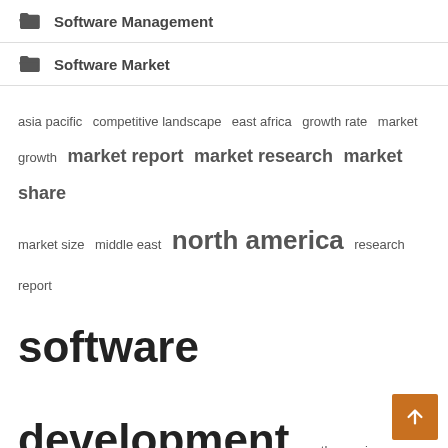Software Management
Software Market
asia pacific  competitive landscape  east africa  growth rate  market growth  market report  market research  market share  market size  middle east  north america  research report  software development  south america  united states
Recent Posts
Who Can Help The Software Developer Funds Shortage
AWS enables live streaming with the Amazon Chime SDK